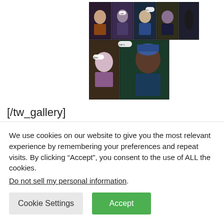[Figure (illustration): Comic book page panels showing superheroes and characters with speech bubbles, arranged in a grid layout.]
[/tw_gallery]
Where do I even begin? I guess word balloon by word balloon is as good a way as any. First of all, that's not how mental healthcare in the U.S. works. That's a
We use cookies on our website to give you the most relevant experience by remembering your preferences and repeat visits. By clicking “Accept”, you consent to the use of ALL the cookies.
Do not sell my personal information.
Cookie Settings
Accept